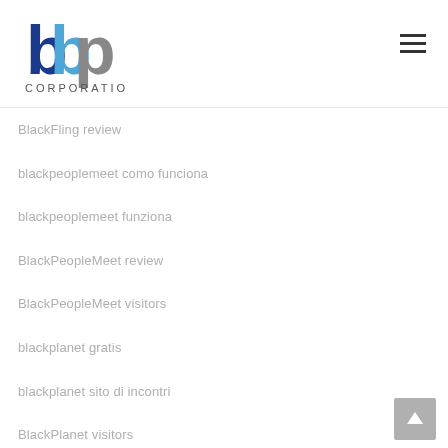bbp CORPORATION
BlackFling review
blackpeoplemeet como funciona
blackpeoplemeet funziona
BlackPeopleMeet review
BlackPeopleMeet visitors
blackplanet gratis
blackplanet sito di incontri
BlackPlanet visitors
blackplanet-recenze PE™ihIГЎsit se
blendr como funciona